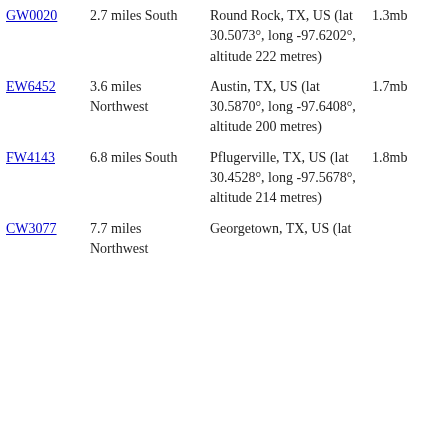| ID | Distance/Direction | Location | Size |  |
| --- | --- | --- | --- | --- |
| GW0020 | 2.7 miles South | Round Rock, TX, US (lat 30.5073°, long -97.6202°, altitude 222 metres) | 1.3mb | - |
| EW6452 | 3.6 miles Northwest | Austin, TX, US (lat 30.5870°, long -97.6408°, altitude 200 metres) | 1.7mb | - |
| FW4143 | 6.8 miles South | Pflugerville, TX, US (lat 30.4528°, long -97.5678°, altitude 214 metres) | 1.8mb | - |
| CW3077 | 7.7 miles Northwest | Georgetown, TX, US (lat |  |  |